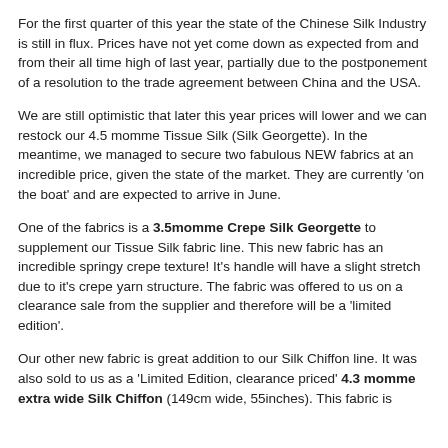For the first quarter of this year the state of the Chinese Silk Industry is still in flux. Prices have not yet come down as expected from and from their all time high of last year, partially due to the postponement of a resolution to the trade agreement between China and the USA.
We are still optimistic that later this year prices will lower and we can restock our 4.5 momme Tissue Silk (Silk Georgette). In the meantime, we managed to secure two fabulous NEW fabrics at an incredible price, given the state of the market. They are currently 'on the boat' and are expected to arrive in June.
One of the fabrics is a 3.5momme Crepe Silk Georgette to supplement our Tissue Silk fabric line. This new fabric has an incredible springy crepe texture! It's handle will have a slight stretch due to it's crepe yarn structure. The fabric was offered to us on a clearance sale from the supplier and therefore will be a 'limited edition'.
Our other new fabric is great addition to our Silk Chiffon line. It was also sold to us as a 'Limited Edition, clearance priced' 4.3 momme extra wide Silk Chiffon (149cm wide, 55inches). This fabric is